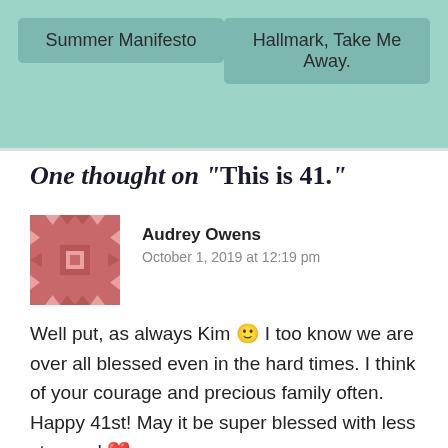Summer Manifesto | Hallmark, Take Me Away.
One thought on "This is 41."
Audrey Owens
October 1, 2019 at 12:19 pm
[Figure (illustration): Avatar/profile image: decorative geometric pixel-art pattern in pink/red and white tones]
Well put, as always Kim 🙂 I too know we are over all blessed even in the hard times. I think of your courage and precious family often. Happy 41st! May it be super blessed with less stressed ❤
★ Like
Reply